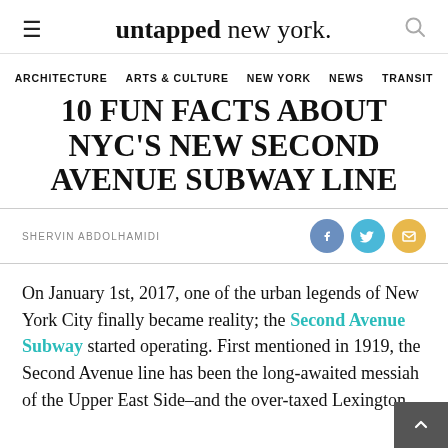untapped new york.
ARCHITECTURE   ARTS & CULTURE   NEW YORK   NEWS   TRANSIT
10 FUN FACTS ABOUT NYC'S NEW SECOND AVENUE SUBWAY LINE
SHERVIN ABDOLHAMIDI
On January 1st, 2017, one of the urban legends of New York City finally became reality; the Second Avenue Subway started operating. First mentioned in 1919, the Second Avenue line has been the long-awaited messiah of the Upper East Side–and the over-taxed Lexington